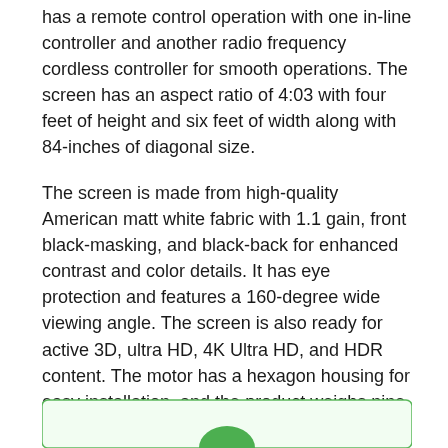has a remote control operation with one in-line controller and another radio frequency cordless controller for smooth operations. The screen has an aspect ratio of 4:03 with four feet of height and six feet of width along with 84-inches of diagonal size.
The screen is made from high-quality American matt white fabric with 1.1 gain, front black-masking, and black-back for enhanced contrast and color details. It has eye protection and features a 160-degree wide viewing angle. The screen is also ready for active 3D, ultra HD, 4K Ultra HD, and HDR content. The motor has a hexagon housing for easy installation, and the product weighs nine Kgs. The product comes with a 1-year manufacturer's warranty and is available in different sizes.
[Figure (other): Partial green rounded rectangle bar at the bottom of the page with a green circle/arc visible at center bottom]